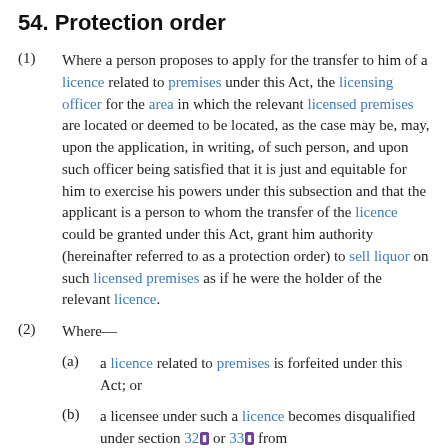54. Protection order
(1) Where a person proposes to apply for the transfer to him of a licence related to premises under this Act, the licensing officer for the area in which the relevant licensed premises are located or deemed to be located, as the case may be, may, upon the application, in writing, of such person, and upon such officer being satisfied that it is just and equitable for him to exercise his powers under this subsection and that the applicant is a person to whom the transfer of the licence could be granted under this Act, grant him authority (hereinafter referred to as a protection order) to sell liquor on such licensed premises as if he were the holder of the relevant licence.
(2) Where—
(a) a licence related to premises is forfeited under this Act; or
(b) a licensee under such a licence becomes disqualified under section 32 or 33 from